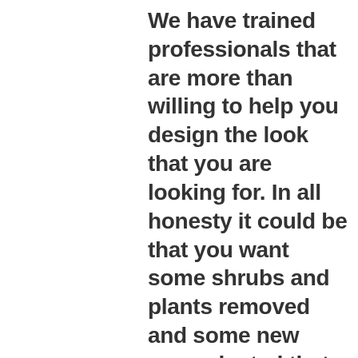We have trained professionals that are more than willing to help you design the look that you are looking for. In all honesty it could be that you want some shrubs and plants removed and some new ones planted that will make your yard or commercial property pop the way you want. As it has been mentioned on other pages of Done Right Landscaping San Antonio we offer the ability to scale your project in any direction. We also strive to be the